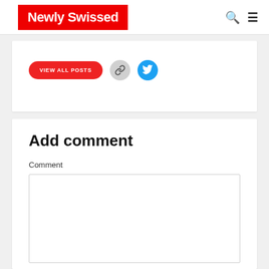Newly Swissed
[Figure (other): VIEW ALL POSTS button, link icon button, and Twitter bird icon button]
Add comment
Comment
[Figure (other): Empty comment text area input field]